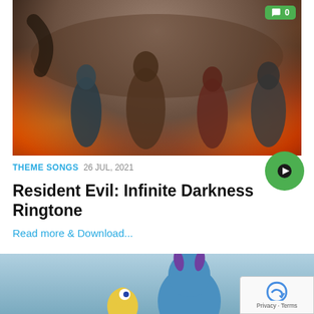[Figure (photo): Hero image showing Resident Evil: Infinite Darkness characters — four figures (Leon, Claire, and others) standing in a post-apocalyptic burning cityscape]
THEME SONGS  26 JUL, 2021
[Figure (other): Green circular play button]
Resident Evil: Infinite Darkness Ringtone
Read more & Download...
[Figure (photo): Partially visible image of animated Monsters Inc. characters including Sully and Mike]
[Figure (other): reCAPTCHA badge with Privacy and Terms text]